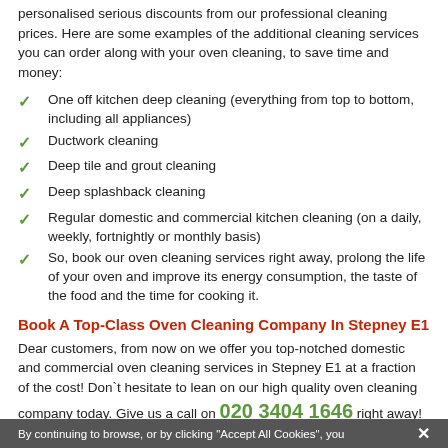personalised serious discounts from our professional cleaning prices. Here are some examples of the additional cleaning services you can order along with your oven cleaning, to save time and money:
One off kitchen deep cleaning (everything from top to bottom, including all appliances)
Ductwork cleaning
Deep tile and grout cleaning
Deep splashback cleaning
Regular domestic and commercial kitchen cleaning (on a daily, weekly, fortnightly or monthly basis)
So, book our oven cleaning services right away, prolong the life of your oven and improve its energy consumption, the taste of the food and the time for cooking it.
Book A Top-Class Oven Cleaning Company In Stepney E1
Dear customers, from now on we offer you top-notched domestic and commercial oven cleaning services in Stepney E1 at a fraction of the cost! Don`t hesitate to lean on our high quality oven cleaning company today. Give us a call on 020 3404 1646 right away! Get a free quote or ask for more details. We are at
By continuing to browse, or by clicking "Accept All Cookies", you